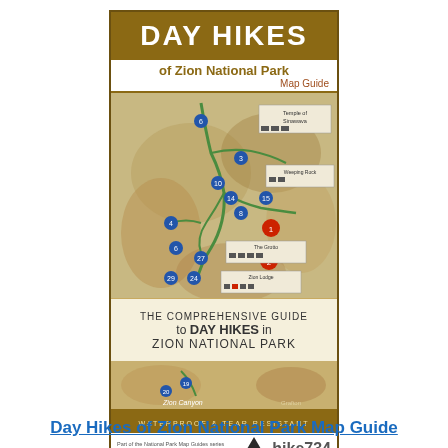[Figure (other): Book cover for 'Day Hikes of Zion National Park Map Guide'. Features a tan/brown cover with the title in large white bold text, a topographic trail map of Zion National Park in the center, and text reading 'The Comprehensive Guide to Day Hikes in Zion National Park'. Includes hike734 logo and waterproof label at bottom.]
Day Hikes of Zion National Park Map Guide